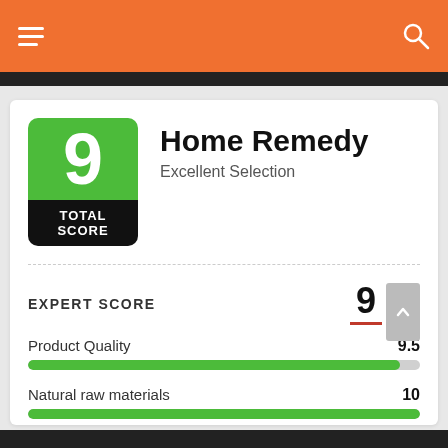[Figure (screenshot): Orange navigation bar with hamburger menu icon on left and search icon on right]
Home Remedy
Excellent Selection
TOTAL SCORE
EXPERT SCORE
9
Product Quality  9.5
Natural raw materials  10